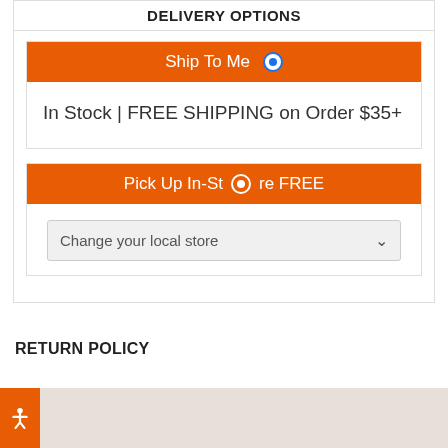DELIVERY OPTIONS
Ship To Me
In Stock | FREE SHIPPING on Order $35+
Pick Up In-Store FREE
Change your local store
RETURN POLICY